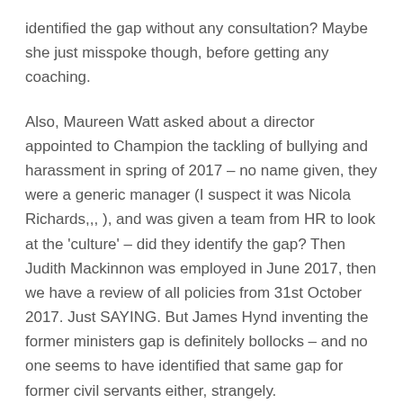identified the gap without any consultation? Maybe she just misspoke though, before getting any coaching.
Also, Maureen Watt asked about a director appointed to Champion the tackling of bullying and harassment in spring of 2017 – no name given, they were a generic manager (I suspect it was Nicola Richards,,, ), and was given a team from HR to look at the 'culture' – did they identify the gap? Then Judith Mackinnon was employed in June 2017, then we have a review of all policies from 31st October 2017. Just SAYING. But James Hynd inventing the former ministers gap is definitely bollocks – and no one seems to have identified that same gap for former civil servants either, strangely.
I've forgotten what else I was going to say about your article Gordon, I'll come back to it!